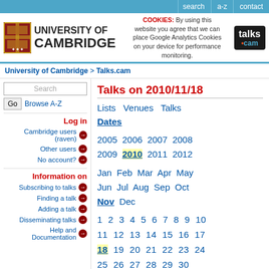search   a-z   contact
[Figure (logo): University of Cambridge logo with shield and text, talks.cam logo, and cookie notice]
COOKIES: By using this website you agree that we can place Google Analytics Cookies on your device for performance monitoring.
University of Cambridge > Talks.cam
Search | Go | Browse A-Z
Log in
Cambridge users (raven) →
Other users →
No account? →
Information on
Subscribing to talks →
Finding a talk →
Adding a talk →
Disseminating talks →
Help and Documentation →
Talks on 2010/11/18
Lists   Venues   Talks   Dates
2005  2006  2007  2008  2009  2010  2011  2012
Jan  Feb  Mar  Apr  May  Jun  Jul  Aug  Sep  Oct  Nov  Dec
1  2  3  4  5  6  7  8  9  10  11  12  13  14  15  16  17  18  19  20  21  22  23  24  25  26  27  28  29  30
Thursday 18 November 2010